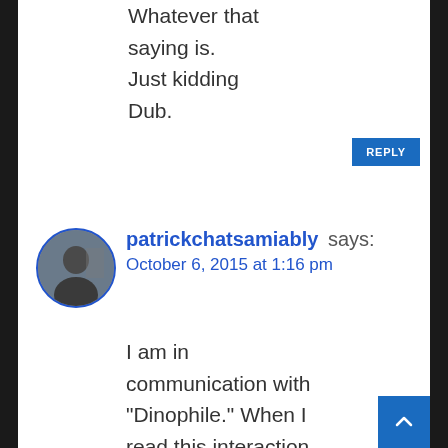Whatever that saying is. Just kidding Dub.
patrickchatsamiably says: October 6, 2015 at 1:16 pm
I am in communication with “Dinophile.” When I read this interaction, I thought of the